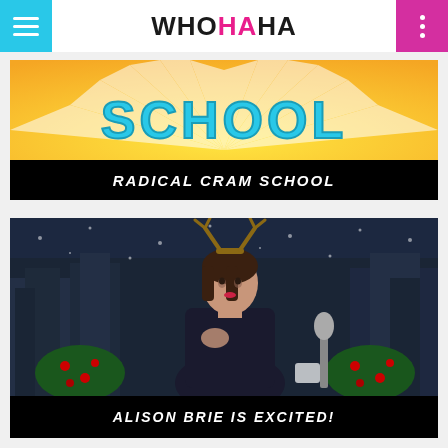WHOHAHA
[Figure (screenshot): Radical Cram School show thumbnail with yellow sunburst background and text 'SCHOOL']
RADICAL CRAM SCHOOL
[Figure (screenshot): Alison Brie wearing reindeer antler headband on a talk show set with Christmas decorations]
ALISON BRIE IS EXCITED!